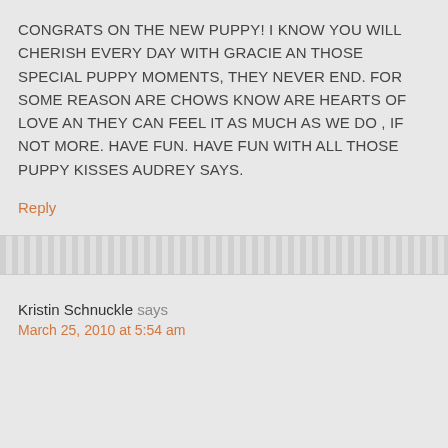CONGRATS ON THE NEW PUPPY! I KNOW YOU WILL CHERISH EVERY DAY WITH GRACIE AN THOSE SPECIAL PUPPY MOMENTS, THEY NEVER END. FOR SOME REASON ARE CHOWS KNOW ARE HEARTS OF LOVE AN THEY CAN FEEL IT AS MUCH AS WE DO , IF NOT MORE. HAVE FUN. HAVE FUN WITH ALL THOSE PUPPY KISSES AUDREY SAYS.
Reply
Kristin Schnuckle says
March 25, 2010 at 5:54 am